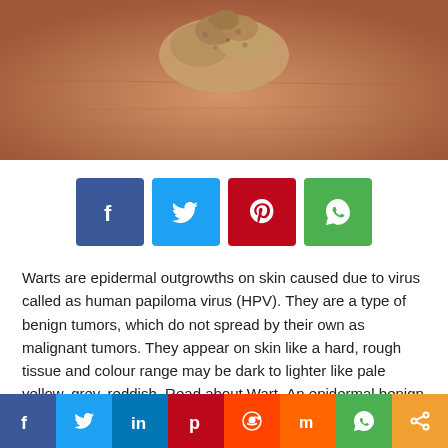[Figure (photo): Close-up photograph of a wart (epidermal outgrowth) on skin, showing rough textured tissue with a brownish-pink color. Watermark reads '© 2009 Logic' vertically on the right side.]
[Figure (infographic): Row of four social share buttons: Facebook (blue), Twitter (light blue), Pinterest (red), WhatsApp (green)]
Warts are epidermal outgrowths on skin caused due to virus called as human papiloma virus (HPV). They are a type of benign tumors, which do not spread by their own as malignant tumors. They appear on skin like a hard, rough tissue and colour range may be dark to lighter like pale yellow, grey, reddish. Read about Wart- An epidermal benign tumor caused by virus
[Figure (infographic): Bottom social share bar with 8 icons: Facebook, Twitter, LinkedIn, Pinterest, Reddit, Mix, WhatsApp, Share (gold)]